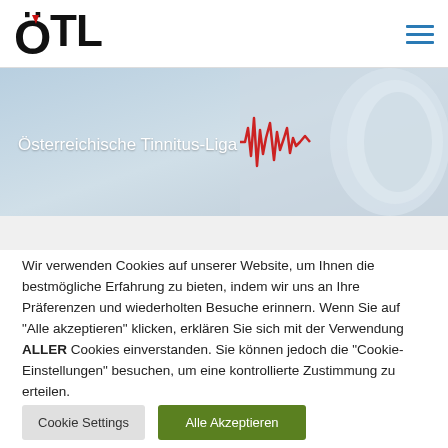ÖTL
[Figure (screenshot): Website banner for Österreichische Tinnitus-Liga showing a light blue gradient background with a human ear illustration on the right and a red sound waveform graphic in the center-right area.]
Wir verwenden Cookies auf unserer Website, um Ihnen die bestmögliche Erfahrung zu bieten, indem wir uns an Ihre Präferenzen und wiederholten Besuche erinnern. Wenn Sie auf "Alle akzeptieren" klicken, erklären Sie sich mit der Verwendung ALLER Cookies einverstanden. Sie können jedoch die "Cookie-Einstellungen" besuchen, um eine kontrollierte Zustimmung zu erteilen.
Cookie Settings
Alle Akzeptieren